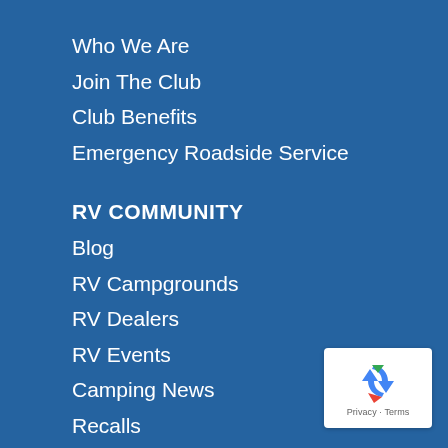Who We Are
Join The Club
Club Benefits
Emergency Roadside Service
RV COMMUNITY
Blog
RV Campgrounds
RV Dealers
RV Events
Camping News
Recalls
Associations
Classifieds
[Figure (logo): reCAPTCHA badge with recycling arrows logo, Privacy and Terms text]